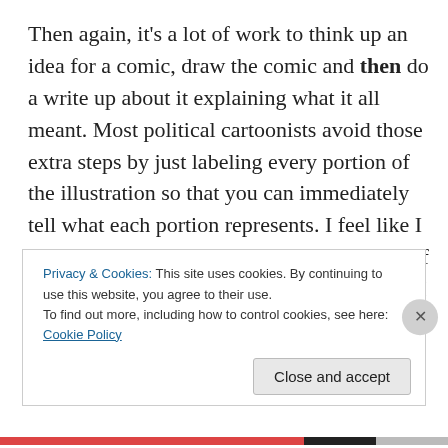Then again, it's a lot of work to think up an idea for a comic, draw the comic and then do a write up about it explaining what it all meant. Most political cartoonists avoid those extra steps by just labeling every portion of the illustration so that you can immediately tell what each portion represents. I feel like I did alright when I did my satirical drawing of a muppet that had been shot in the face. But I still worry that it would be difficult for me to convert a complex and multifaceted issue into a single
Privacy & Cookies: This site uses cookies. By continuing to use this website, you agree to their use.
To find out more, including how to control cookies, see here: Cookie Policy
Close and accept